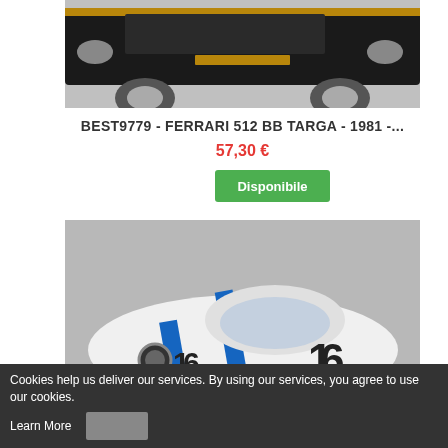[Figure (photo): Partial top view of a dark/black sports car model (Ferrari 512 BB Targa area), cropped at top]
BEST9779 - FERRARI 512 BB TARGA - 1981 -...
57,30 €
Disponibile
[Figure (photo): White race car model (number 16) with blue stripes, appears to be a Jaguar E-Type, on grey background]
Cookies help us deliver our services. By using our services, you agree to use our cookies.
Learn More